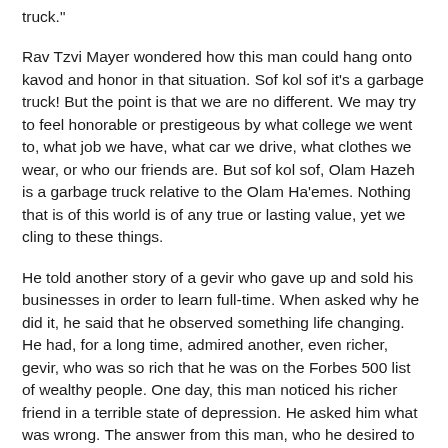truck."
Rav Tzvi Mayer wondered how this man could hang onto kavod and honor in that situation. Sof kol sof it's a garbage truck! But the point is that we are no different. We may try to feel honorable or prestigeous by what college we went to, what job we have, what car we drive, what clothes we wear, or who our friends are. But sof kol sof, Olam Hazeh is a garbage truck relative to the Olam Ha'emes. Nothing that is of this world is of any true or lasting value, yet we cling to these things.
He told another story of a gevir who gave up and sold his businesses in order to learn full-time. When asked why he did it, he said that he observed something life changing. He had, for a long time, admired another, even richer, gevir, who was so rich that he was on the Forbes 500 list of wealthy people. One day, this man noticed his richer friend in a terrible state of depression. He asked him what was wrong. The answer from this man, who he desired to emulate, astounded him. Forbes had just come out with their list and this man had expected to be at a certain place in the list, but